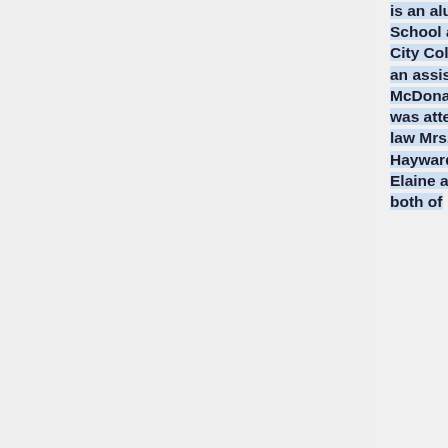is an alumnus of Fresno High School and is attending Fresno City College. He is employed as an assistant manager by McDonald's Drivein. The bride was attended by her sister in law Mrs. Howard R. Helwig of Hayward, matron of honor, and Elaine and Shari Wrigglesworth, both of